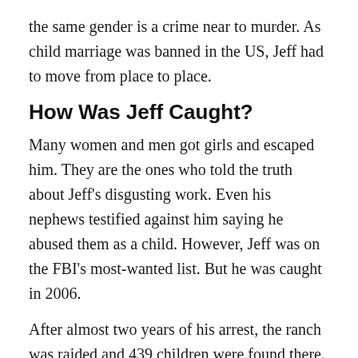the same gender is a crime near to murder. As child marriage was banned in the US, Jeff had to move from place to place.
How Was Jeff Caught?
Many women and men got girls and escaped him. They are the ones who told the truth about Jeff's disgusting work. Even his nephews testified against him saying he abused them as a child. However, Jeff was on the FBI's most-wanted list. But he was caught in 2006.
After almost two years of his arrest, the ranch was raided and 439 children were found there. All of them were taken under the child protection services.
Where Is He Now?